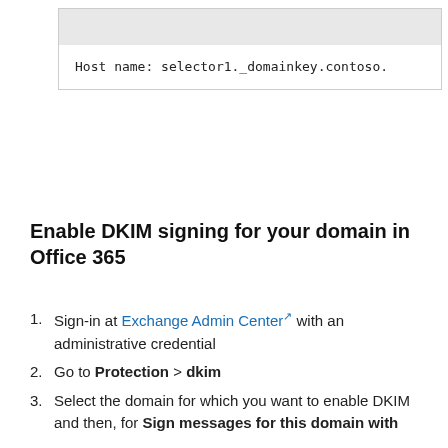[Figure (screenshot): A code/UI box with a light gray header bar and white body showing monospace text: 'Host name: selector1._domainkey.contoso.']
Enable DKIM signing for your domain in Office 365
Sign-in at Exchange Admin Center with an administrative credential
Go to Protection > dkim
Select the domain for which you want to enable DKIM and then, for Sign messages for this domain with